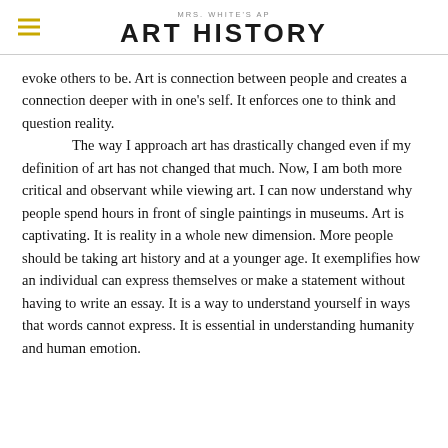MRS. WHITE'S AP ART HISTORY
evoke others to be. Art is connection between people and creates a connection deeper with in one's self. It enforces one to think and question reality.
	The way I approach art has drastically changed even if my definition of art has not changed that much. Now, I am both more critical and observant while viewing art. I can now understand why people spend hours in front of single paintings in museums. Art is captivating. It is reality in a whole new dimension. More people should be taking art history and at a younger age. It exemplifies how an individual can express themselves or make a statement without having to write an essay. It is a way to understand yourself in ways that words cannot express. It is essential in understanding humanity and human emotion.